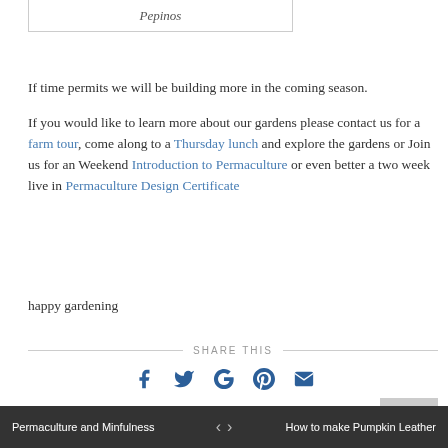Pepinos
If time permits we will be building more in the coming season.
If you would like to learn more about our gardens please contact us for a farm tour, come along to a Thursday lunch and explore the gardens or Join us for an Weekend Introduction to Permaculture or even better a two week live in Permaculture Design Certificate
happy gardening
SHARE THIS
[Figure (infographic): Social share icons: Facebook, Twitter, Google+, Pinterest, Email]
1 COMMENT
Permaculture and Minfulness  <  >  How to make Pumpkin Leather
Leave a reply